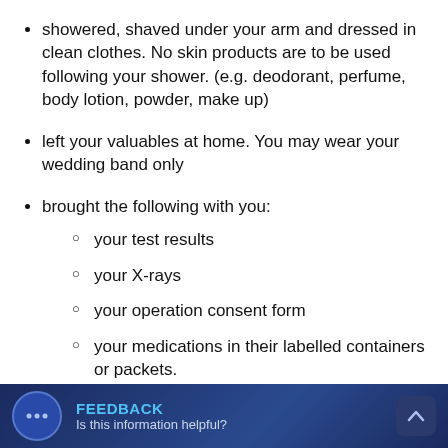showered, shaved under your arm and dressed in clean clothes. No skin products are to be used following your shower. (e.g. deodorant, perfume, body lotion, powder, make up)
left your valuables at home. You may wear your wedding band only
brought the following with you:
your test results
your X-rays
your operation consent form
your medications in their labelled containers or packets.
If your surgeon has arranged for any preoperative procedures such as sentinel node mapping you will be admitted early to allow time for results to be available before your surgery. These procedures will occur in the radiology departments. No visitors are permitted in the
FEEDBACK
Is this information helpful?